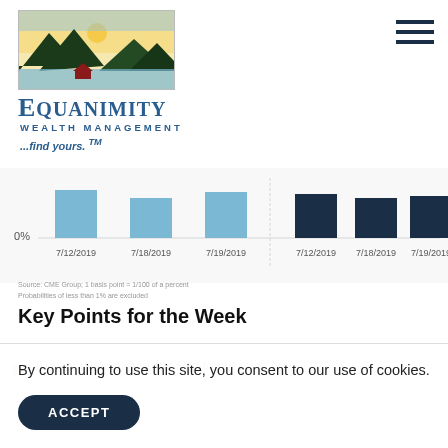[Figure (logo): Equanimity Wealth Management logo with mountain/lake landscape image, brand name, subtitle 'Wealth Management', and tagline '...find yours. TM']
[Figure (grouped-bar-chart): Grouped bar chart showing two groups of three bars (light blue and dark navy) for dates 7/12/2019, 7/18/2019, 7/19/2019. Light blue bars on left, dark navy bars on right. 0% label on y-axis.]
Source: CME Group; 1 basis point = 1/100 of a percent
Probabilities of less than 1% are excluded
Key Points for the Week
Expectations are for the Fed to cut rates by...
By continuing to use this site, you consent to our use of cookies.